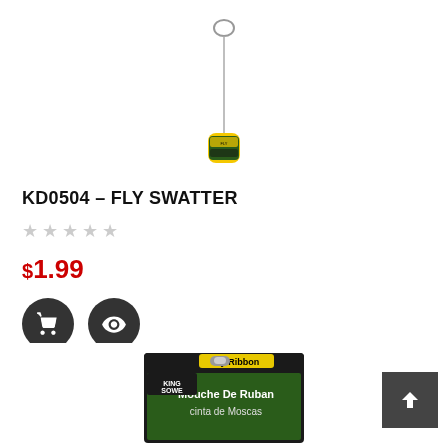[Figure (photo): A fly ribbon product hanging by a wire loop, with a small yellow oval container at the bottom bearing a product label.]
KD0504 – FLY SWATTER
★★★★★ (empty stars rating)
$1.99
[Figure (photo): Partial image of a fly ribbon product package at the bottom of the page, showing text 'Fly Ribbon', 'Mouche De Ruban', 'cinta de Moscas']